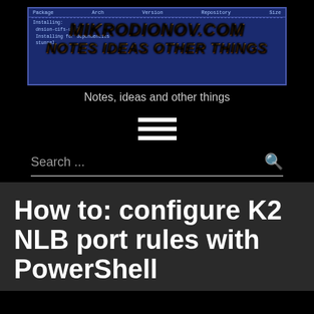[Figure (screenshot): Website banner/logo for mikrodionov.com showing a terminal/package manager interface background with site name 'MIKRODIONOV.COM' and 'NOTES IDEAS OTHER THINGS' in orange italic bold text overlaid on a dark blue terminal window]
Notes, ideas and other things
[Figure (other): Hamburger menu icon with three white horizontal bars]
Search ...
How to: configure K2 NLB port rules with PowerShell